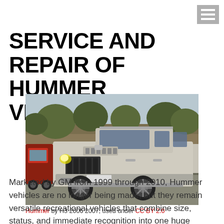[Figure (other): Hamburger menu icon in top-right corner]
SERVICE AND REPAIR OF HUMMER VEHICLES
[Figure (photo): Silver Hummer H3 SUV parked in a parking lot with trees in background and a red vehicle partially visible on the left]
Hummer by H3 2006 2007, used under CC BY 2.0
Marketed by GM from 1999 through 2010, Hummer vehicles are no longer being made, but they remain versatile recreational vehicles that combine size, status, and immediate recognition into one huge